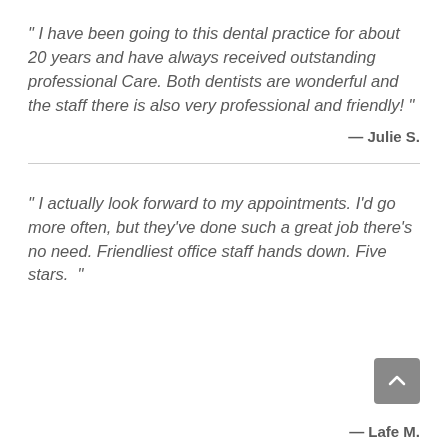" I have been going to this dental practice for about 20 years and have always received outstanding professional Care. Both dentists are wonderful and the staff there is also very professional and friendly! "
— Julie S.
" I actually look forward to my appointments. I'd go more often, but they've done such a great job there's no need. Friendliest office staff hands down. Five stars. "
— Lafe M.